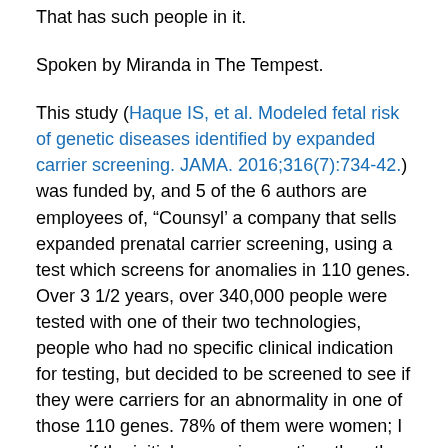That has such people in it.
Spoken by Miranda in The Tempest.
This study (Haque IS, et al. Modeled fetal risk of genetic diseases identified by expanded carrier screening. JAMA. 2016;316(7):734-42.) was funded by, and 5 of the 6 authors are employees of, “Counsyl’ a company that sells expanded prenatal carrier screening, using a test which screens for anomalies in 110 genes. Over 3 1/2 years, over 340,000 people were tested with one of their two technologies, people who had no specific clinical indication for testing, but decided to be screened to see if they were carriers for an abnormality in one of those 110 genes. 78% of them were women; I guess if the initial screen is negative, then the cost of testing the other parent can be avoided. They are also testing for some X-linked recessive conditions, not just autosomal. Many of